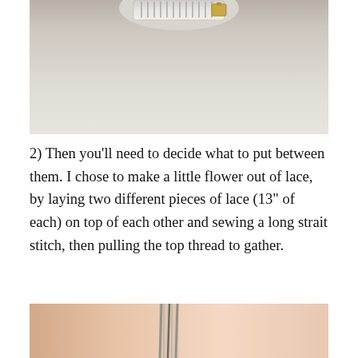[Figure (photo): Top portion of a sewing machine photographed from above against a light beige/cream background, showing the upper mechanical parts of the machine.]
2) Then you'll need to decide what to put between them. I chose to make a little flower out of lace, by laying two different pieces of lace (13" of each) on top of each other and sewing a long strait stitch, then pulling the top thread to gather.
[Figure (photo): Bottom portion of a photo showing what appears to be sewing machine needle area with orange/peach colored fabric visible, partially cropped at the bottom of the page.]